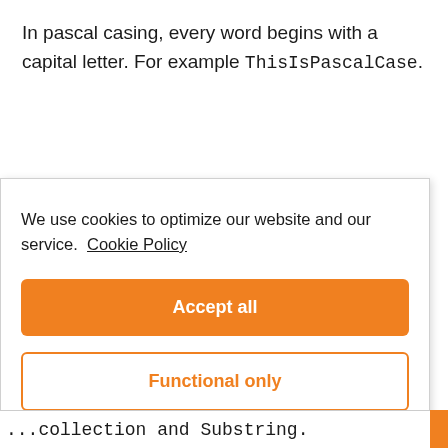In pascal casing, every word begins with a capital letter. For example ThisIsPascalCase.
We use cookies to optimize our website and our service.  Cookie Policy
Accept all
Functional only
View preferences
...collection and Substring.